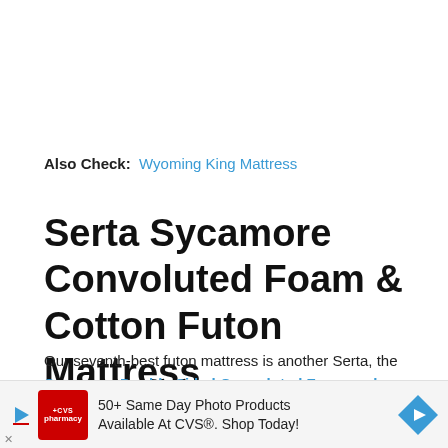Also Check:  Wyoming King Mattress
Serta Sycamore Convoluted Foam & Cotton Futon Mattress
Our seventh-best futon mattress is another Serta, the Sycamore Double Sided Convoluted Foam and Cotton Futon Mattress. Like we mentioned before, Serta is an expert in the sleep
[Figure (screenshot): CVS Pharmacy advertisement banner: '50+ Same Day Photo Products Available At CVS®. Shop Today!' with CVS logo and arrow icon.]